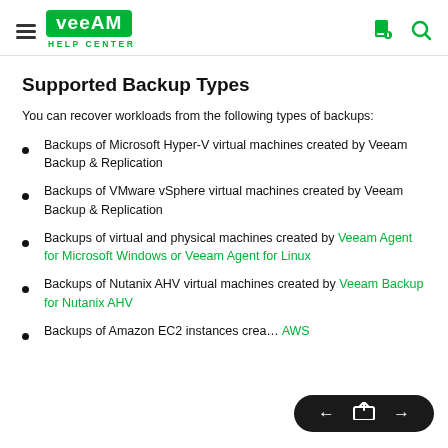Veeam Help Center
Supported Backup Types
You can recover workloads from the following types of backups:
Backups of Microsoft Hyper-V virtual machines created by Veeam Backup & Replication
Backups of VMware vSphere virtual machines created by Veeam Backup & Replication
Backups of virtual and physical machines created by Veeam Agent for Microsoft Windows or Veeam Agent for Linux
Backups of Nutanix AHV virtual machines created by Veeam Backup for Nutanix AHV
Backups of Amazon EC2 instances created by AWS